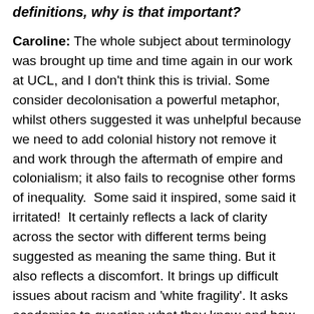definitions, why is that important?
Caroline: The whole subject about terminology was brought up time and time again in our work at UCL, and I don't think this is trivial. Some consider decolonisation a powerful metaphor, whilst others suggested it was unhelpful because we need to add colonial history not remove it and work through the aftermath of empire and colonialism; it also fails to recognise other forms of inequality. Some said it inspired, some said it irritated! It certainly reflects a lack of clarity across the sector with different terms being suggested as meaning the same thing. But it also reflects a discomfort. It brings up difficult issues about racism and 'white fragility'. It asks academics to question what they know and how they know it and conversely what they don't know and why. This is uncomfortable. Very uncomfortable. In these...